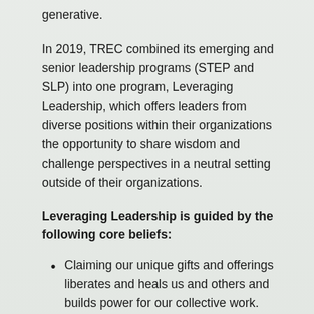generative.
In 2019, TREC combined its emerging and senior leadership programs (STEP and SLP) into one program, Leveraging Leadership, which offers leaders from diverse positions within their organizations the opportunity to share wisdom and challenge perspectives in a neutral setting outside of their organizations.
Leveraging Leadership is guided by the following core beliefs:
Claiming our unique gifts and offerings liberates and heals us and others and builds power for our collective work.